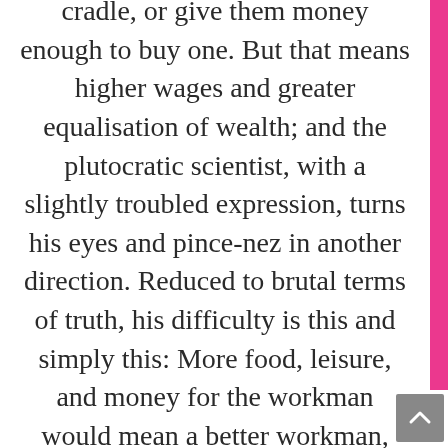cradle, or give them money enough to buy one. But that means higher wages and greater equalisation of wealth; and the plutocratic scientist, with a slightly troubled expression, turns his eyes and pince-nez in another direction. Reduced to brutal terms of truth, his difficulty is this and simply this: More food, leisure, and money for the workman would mean a better workman, better even from the point of view of anyone for whom he worked. But more food, leisure, and money would also mean